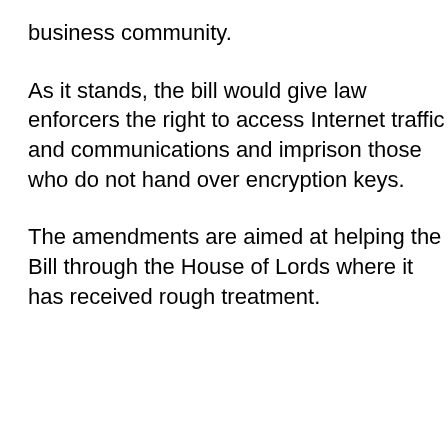business community.
As it stands, the bill would give law enforcers the right to access Internet traffic and communications and imprison those who do not hand over encryption keys.
The amendments are aimed at helping the Bill through the House of Lords where it has received rough treatment.